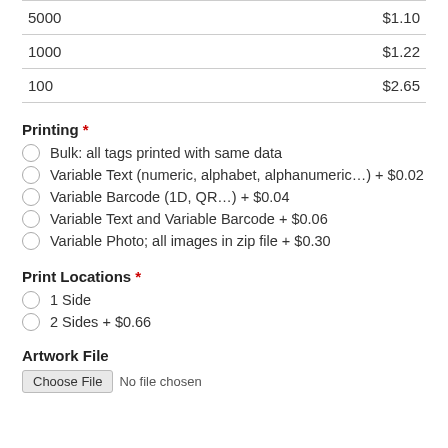| Quantity | Price |
| --- | --- |
| 5000 | $1.10 |
| 1000 | $1.22 |
| 100 | $2.65 |
Printing *
Bulk: all tags printed with same data
Variable Text (numeric, alphabet, alphanumeric…) + $0.02
Variable Barcode (1D, QR…) + $0.04
Variable Text and Variable Barcode + $0.06
Variable Photo; all images in zip file + $0.30
Print Locations *
1 Side
2 Sides + $0.66
Artwork File
Choose File   No file chosen